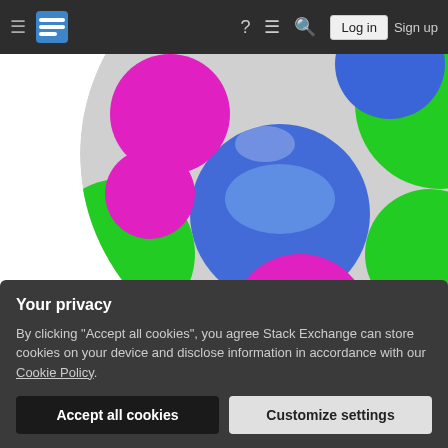Stack Exchange navigation bar with hamburger menu, logo, question mark, chat, search icons, Log in and Sign up buttons
[Figure (photo): Colorful 3D sphere covered in bright blue, green, and magenta/pink polka dots on white background, partially cropped]
discussion
fun
gravatar
Share   Follow
edited Jun 26, 2012 at 22:24
Your privacy
By clicking "Accept all cookies", you agree Stack Exchange can store cookies on your device and disclose information in accordance with our Cookie Policy.
Accept all cookies
Customize settings